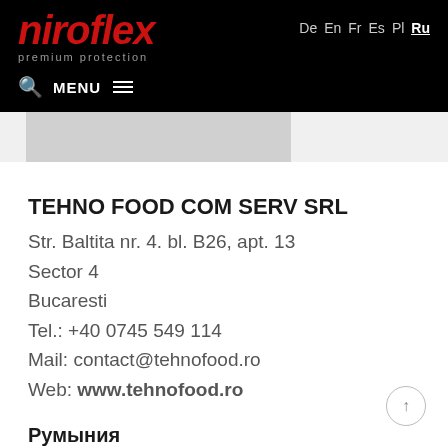niroflex premium protection | De En Fr Es Pl Ru | MENU
[Figure (photo): Partial grey image strip visible below the header navigation bar]
TEHNO FOOD COM SERV SRL
Str. Baltita nr. 4. bl. B26, apt. 13
Sector 4
Bucaresti
Tel.: +40 0745 549 114
Mail: contact@tehnofood.ro
Web: www.tehnofood.ro
Румыния